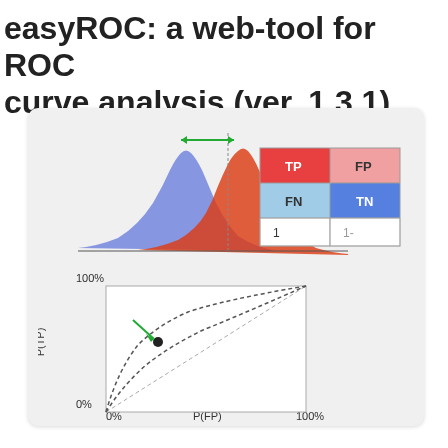easyROC: a web-tool for ROC curve analysis (ver. 1.3.1)
[Figure (continuous-plot): Two overlapping bell-curve distributions (blue and red/orange) representing negative and positive test result populations, with a vertical threshold line and a double-headed green arrow indicating separation. Below the curves is a confusion matrix table showing TP (red), FP (pink), FN (light blue), TN (blue) cells with labels 1 and 1- below.]
[Figure (continuous-plot): ROC curve plot with dotted ROC curve lines and a diagonal reference line. Y-axis labeled P(TP) with 100% at top and 0% at bottom. X-axis labeled P(FP) with 0% at left and 100% at right. A black dot on the curve with a green arrow pointing toward it from upper left.]